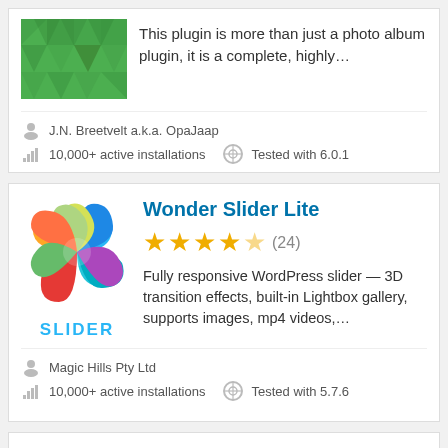[Figure (screenshot): Green geometric plugin thumbnail image]
This plugin is more than just a photo album plugin, it is a complete, highly…
J.N. Breetvelt a.k.a. OpaJaap
10,000+ active installations
Tested with 6.0.1
[Figure (logo): Wonder Slider Lite colorful swirl logo with SLIDER text]
Wonder Slider Lite
★★★★☆ (24)
Fully responsive WordPress slider — 3D transition effects, built-in Lightbox gallery, supports images, mp4 videos,…
Magic Hills Pty Ltd
10,000+ active installations
Tested with 5.7.6